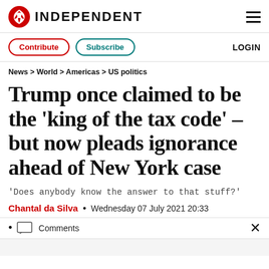INDEPENDENT
Contribute  Subscribe  LOGIN
News > World > Americas > US politics
Trump once claimed to be the 'king of the tax code' – but now pleads ignorance ahead of New York case
'Does anybody know the answer to that stuff?'
Chantal da Silva  •  Wednesday 07 July 2021 20:33
• Comments